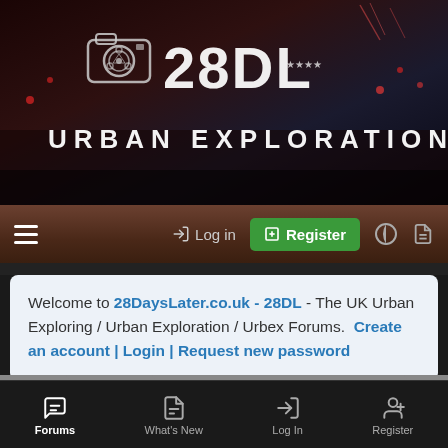[Figure (screenshot): 28DL Urban Exploration website header banner with biohazard camera logo and site title against dark city background]
Navigation bar with hamburger menu, Log in, Register buttons
Welcome to 28DaysLater.co.uk - 28DL - The UK Urban Exploring / Urban Exploration / Urbex Forums. Create an account | Login | Request new password
Home > Forums > 28DL Site Reports and Discussions > Other Sites breadcrumb navigation
[Figure (infographic): Social media buttons: Twitter, Facebook, YouTube]
Bottom navigation: Forums | What's New | Log In | Register